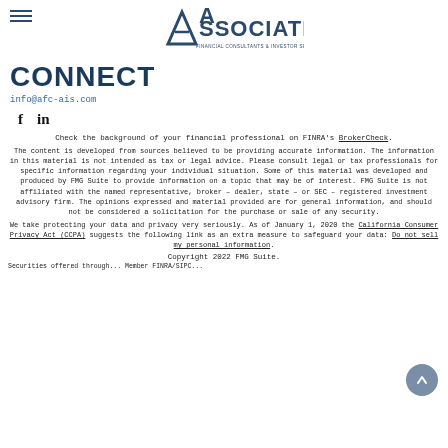Associated Financial Consultants & Investor Services logo with hamburger menu
CONNECT
info@afc-ais.com
[Figure (other): Social media icons: Facebook (f) and LinkedIn (in)]
Check the background of your financial professional on FINRA's BrokerCheck.
The content is developed from sources believed to be providing accurate information. The information in this material is not intended as tax or legal advice. Please consult legal or tax professionals for specific information regarding your individual situation. Some of this material was developed and produced by FMG Suite to provide information on a topic that may be of interest. FMG Suite is not affiliated with the named representative, broker - dealer, state - or SEC - registered investment advisory firm. The opinions expressed and material provided are for general information, and should not be considered a solicitation for the purchase or sale of any security.
We take protecting your data and privacy very seriously. As of January 1, 2020 the California Consumer Privacy Act (CCPA) suggests the following link as an extra measure to safeguard your data: Do not sell my personal information.
Copyright 2022 FMG Suite.
Securities offered through... Member FINRA/SIPC...